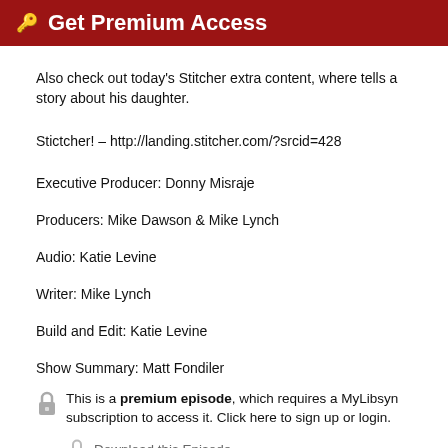🔑 Get Premium Access
Also check out today's Stitcher extra content, where tells a story about his daughter.
Stictcher! – http://landing.stitcher.com/?srcid=428
Executive Producer: Donny Misraje
Producers: Mike Dawson & Mike Lynch
Audio: Katie Levine
Writer: Mike Lynch
Build and Edit: Katie Levine
Show Summary: Matt Fondiler
This is a premium episode, which requires a MyLibsyn subscription to access it. Click here to sign up or login.
Download this Episode